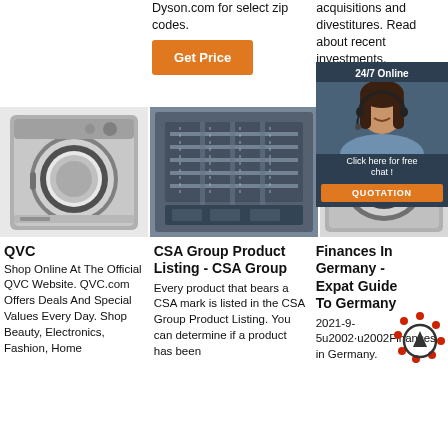Dyson.com for select zip codes.
[Figure (other): Orange 'Get Price' button]
acquisitions and divestitures. Read about recent investments.
[Figure (other): Orange 'Get Price' button (partially visible), overlapped by 24/7 Online chat widget with agent photo, 'Click here for free chat!' text and orange QUOTATION button]
[Figure (photo): Front-loading washing machine with open door, silver/gray]
[Figure (photo): Industrial dishwasher or printing machine, dark machinery with metallic parts]
[Figure (photo): Washing machine partially visible behind chat overlay]
QVC
Shop Online At The Official QVC Website. QVC.com Offers Deals And Special Values Every Day. Shop Beauty, Electronics, Fashion, Home
CSA Group Product Listing - CSA Group
Every product that bears a CSA mark is listed in the CSA Group Product Listing. You can determine if a product has been
Finances In Germany - Expat Guide To Germany
2021-9-5u2002·u2002Finances in Germany.